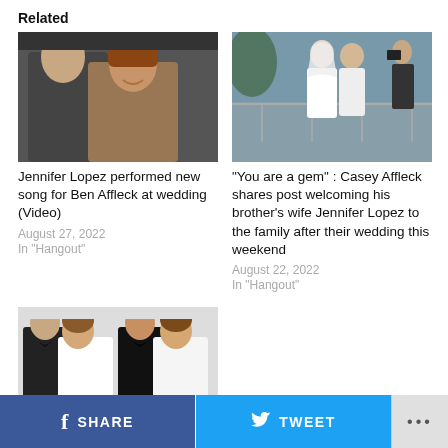Related
[Figure (photo): A man and a woman posing together, smiling, at what appears to be a formal event — Jennifer Lopez and Ben Affleck]
Jennifer Lopez performed new song for Ben Affleck at wedding (Video)
August 27, 2022
In "Hangout"
[Figure (photo): A couple in wedding attire on a bridge or walkway outdoors, with others around them]
"You are a gem" : Casey Affleck shares post welcoming his brother's wife Jennifer Lopez to the family after their wedding this weekend
August 22, 2022
In "Hangout"
[Figure (photo): A couple in formal wear — man in black tuxedo and woman in white dress — photographed twice side by side]
SHARE  TWEET  ...